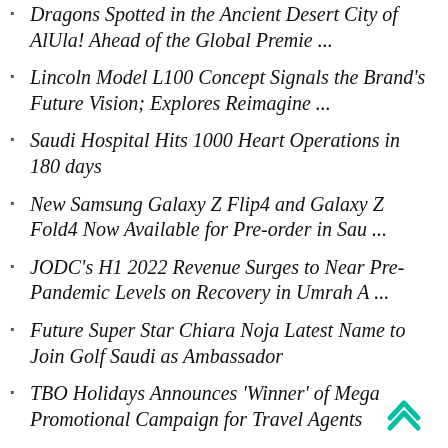Dragons Spotted in the Ancient Desert City of AlUla! Ahead of the Global Premie ...
Lincoln Model L100 Concept Signals the Brand's Future Vision; Explores Reimagine ...
Saudi Hospital Hits 1000 Heart Operations in 180 days
New Samsung Galaxy Z Flip4 and Galaxy Z Fold4 Now Available for Pre-order in Sau ...
JODC's H1 2022 Revenue Surges to Near Pre-Pandemic Levels on Recovery in Umrah A ...
Future Super Star Chiara Noja Latest Name to Join Golf Saudi as Ambassador
TBO Holidays Announces 'Winner' of Mega Promotional Campaign for Travel Agents
HONOR Unveiled the Iconic HONOR 70 5G, Delivering Industry's First Solo Cut Vlog ...